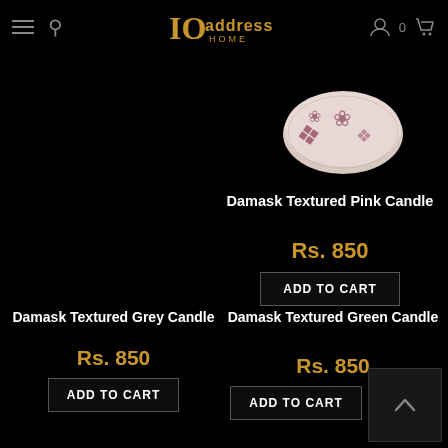address HOME — navigation header with hamburger menu, search icon, logo, user icon, cart (0)
[Figure (photo): Partial top view of a Damask Textured Pink Candle, showing decorative pattern on the candle surface against black background]
Damask Textured Pink Candle
Rs. 850
ADD TO CART
Damask Textured Grey Candle
Rs. 850
ADD TO CART
Damask Textured Green Candle
Rs. 850
ADD TO CART